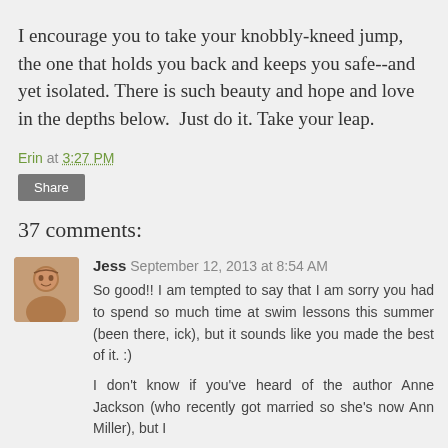I encourage you to take your knobbly-kneed jump, the one that holds you back and keeps you safe--and yet isolated. There is such beauty and hope and love in the depths below. Just do it. Take your leap.
Erin at 3:27 PM
Share
37 comments:
Jess September 12, 2013 at 8:54 AM
So good!! I am tempted to say that I am sorry you had to spend so much time at swim lessons this summer (been there, ick), but it sounds like you made the best of it. :)
I don't know if you've heard of the author Anne Jackson (who recently got married so she's now Ann Miller), but I